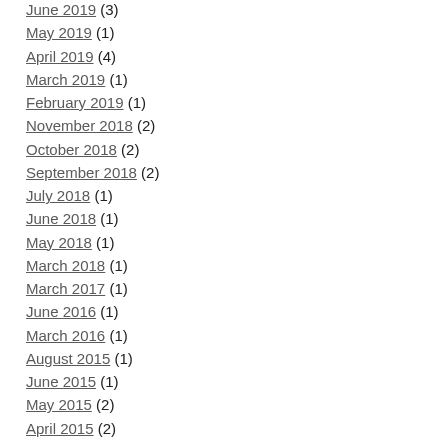June 2019 (3)
May 2019 (1)
April 2019 (4)
March 2019 (1)
February 2019 (1)
November 2018 (2)
October 2018 (2)
September 2018 (2)
July 2018 (1)
June 2018 (1)
May 2018 (1)
March 2018 (1)
March 2017 (1)
June 2016 (1)
March 2016 (1)
August 2015 (1)
June 2015 (1)
May 2015 (2)
April 2015 (2)